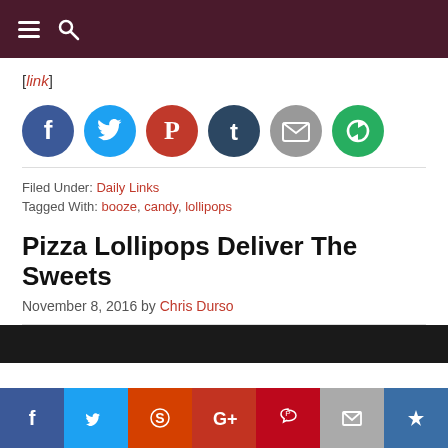Navigation bar with hamburger menu and search icon
[link]
[Figure (infographic): Row of 6 social sharing circle icons: Facebook (blue), Twitter (light blue), Pinterest (red), Tumblr (dark navy), Email (gray), Recycle/share (green)]
Filed Under: Daily Links
Tagged With: booze, candy, lollipops
Pizza Lollipops Deliver The Sweets
November 8, 2016 by Chris Durso
[Figure (photo): Partial photo strip at bottom of article area]
Bottom social share bar: Facebook, Twitter, Reddit, Google+, Pinterest, Email, Crown